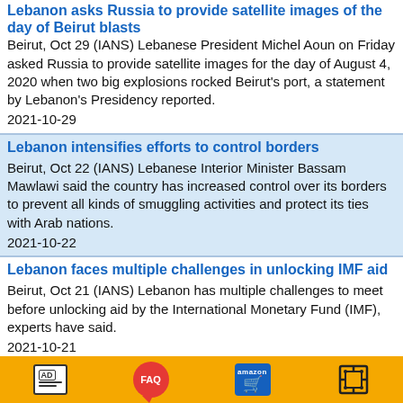Lebanon asks Russia to provide satellite images of the day of Beirut blasts
Beirut, Oct 29 (IANS) Lebanese President Michel Aoun on Friday asked Russia to provide satellite images for the day of August 4, 2020 when two big explosions rocked Beirut's port, a statement by Lebanon's Presidency reported.
2021-10-29
Lebanon intensifies efforts to control borders
Beirut, Oct 22 (IANS) Lebanese Interior Minister Bassam Mawlawi said the country has increased control over its borders to prevent all kinds of smuggling activities and protect its ties with Arab nations.
2021-10-22
Lebanon faces multiple challenges in unlocking IMF aid
Beirut, Oct 21 (IANS) Lebanon has multiple challenges to meet before unlocking aid by the International Monetary Fund (IMF), experts have said.
2021-10-21
Lebanon to hold parliamentary elections in March
Beirut, Oct 19 (IANS) Lebanon's parliament on Tuesday voted to set the date of parliamentary elections on March 27, ahead of the previous schedule in May, the Lebanese National News Agency reported.
[Figure (infographic): Orange footer bar with four icons: AD (newspaper icon), FAQ (red speech bubble), Amazon (blue shopping cart), and a grid/projector icon]